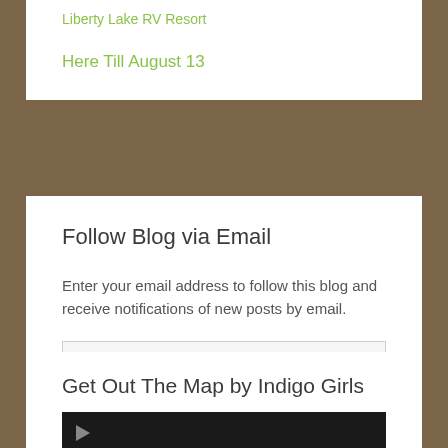Liberty Lake RV Resort
Here Till August 13
Follow Blog via Email
Enter your email address to follow this blog and receive notifications of new posts by email.
Email Address
Follow
Get Out The Map by Indigo Girls